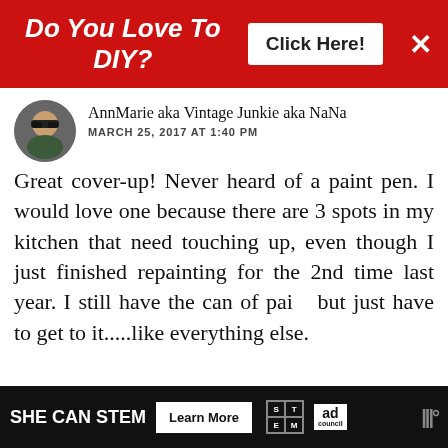[Figure (screenshot): Red advertisement banner: 'Do You Love To DIY?' with 'Click Here!' button and X close button]
AnnMarie aka Vintage Junkie aka NaNa
MARCH 25, 2017 AT 1:40 PM
Great cover-up! Never heard of a paint pen. I would love one because there are 3 spots in my kitchen that need touching up, even though I just finished repainting for the 2nd time last year. I still have the can of paint but just have to get to it.....like everything else.
REPLY DELETE
WHAT'S NEXT → The Easiest Way To Rep...
▼ REPLIES
[Figure (screenshot): Bottom ad banner: SHE CAN STEM - Learn More, with STEM and Ad Council logos]